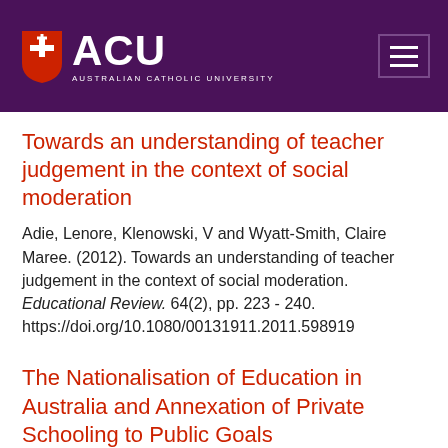ACU — Australian Catholic University
Towards an understanding of teacher judgement in the context of social moderation
Adie, Lenore, Klenowski, V and Wyatt-Smith, Claire Maree. (2012). Towards an understanding of teacher judgement in the context of social moderation. Educational Review. 64(2), pp. 223 - 240. https://doi.org/10.1080/00131911.2011.598919
The Nationalisation of Education in Australia and Annexation of Private Schooling to Public Goals
Cumming, Jacqueline and Mawdsley, Ralph. (2012). The Nationalisation of Education in Australia and